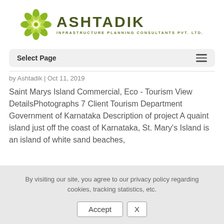[Figure (logo): Ashtadik Infrastructure Planning Consultants Pvt. Ltd. logo with green geometric flower/star icon and company name in dark olive green text]
Select Page
by Ashtadik | Oct 11, 2019
Saint Marys Island Commercial, Eco - Tourism View DetailsPhotographs 7 Client Tourism Department Government of Karnataka Description of project A quaint island just off the coast of Karnataka, St. Mary's Island is an island of white sand beaches,
By visiting our site, you agree to our privacy policy regarding cookies, tracking statistics, etc.